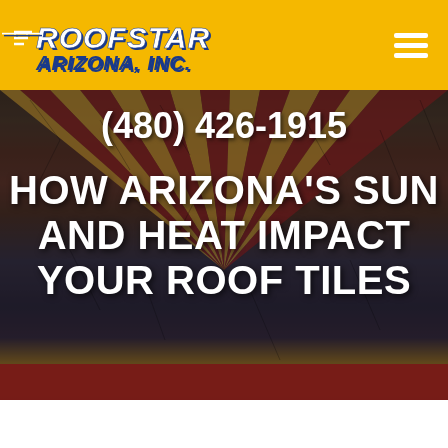[Figure (logo): Roofstar Arizona, Inc. logo on yellow background with hamburger menu icon]
[Figure (photo): Arizona state flag pattern on cracked earth/ground texture used as hero background image]
(480) 426-1915
HOW ARIZONA'S SUN AND HEAT IMPACT YOUR ROOF TILES